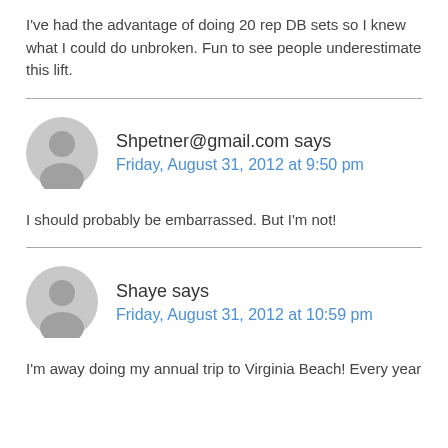I've had the advantage of doing 20 rep DB sets so I knew what I could do unbroken. Fun to see people underestimate this lift.
Shpetner@gmail.com says
Friday, August 31, 2012 at 9:50 pm
I should probably be embarrassed. But I'm not!
Shaye says
Friday, August 31, 2012 at 10:59 pm
I'm away doing my annual trip to Virginia Beach! Every year